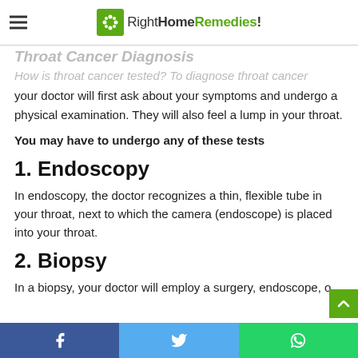RightHomeRemedies!
Throat Cancer Diagnosis
How is throat cancer tested? To diagnose throat cancer
your doctor will first ask about your symptoms and undergo a physical examination. They will also feel a lump in your throat.
You may have to undergo any of these tests
1. Endoscopy
In endoscopy, the doctor recognizes a thin, flexible tube in your throat, next to which the camera (endoscope) is placed into your throat.
2. Biopsy
In a biopsy, your doctor will employ a surgery, endoscope, o
Facebook | Twitter | WhatsApp